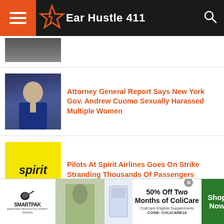Ear Hustle 411
[Figure (photo): Partial view of top article thumbnail]
Attorney General Report Says New York Gov. Andrew Cuomo Sexually Harassed Multiple Women
[Figure (photo): Photo of Andrew Cuomo in a suit]
Pilots At Spirit Airlines Goes On Strike Stranding Thousands Of Passengers
[Figure (logo): Spirit Airlines yellow logo]
Should The Guy Pay When Going On A
[Figure (photo): Dark partial thumbnail of article]
[Figure (screenshot): SmartPak advertisement banner: 50% Off Two Months of ColiCare, CODE: COLICARE10]